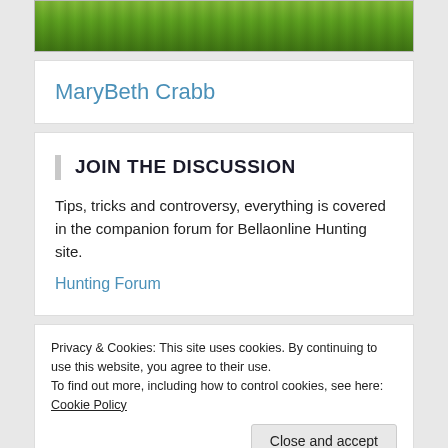[Figure (photo): Partial green crop field banner image at top of page]
MaryBeth Crabb
JOIN THE DISCUSSION
Tips, tricks and controversy, everything is covered in the companion forum for Bellaonline Hunting site.
Hunting Forum
Privacy & Cookies: This site uses cookies. By continuing to use this website, you agree to their use.
To find out more, including how to control cookies, see here: Cookie Policy
[Figure (photo): Partial animal/nature photo at bottom of page]